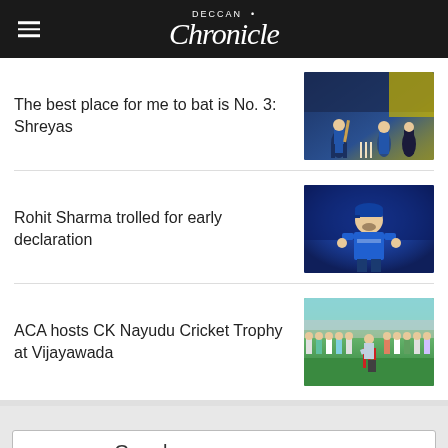Deccan Chronicle
The best place for me to bat is No. 3: Shreyas
[Figure (photo): Cricket match photo showing India and Sri Lanka players on field]
Rohit Sharma trolled for early declaration
[Figure (photo): Rohit Sharma in blue India cricket jersey standing on field]
ACA hosts CK Nayudu Cricket Trophy at Vijayawada
[Figure (photo): Group of people at cricket ground during CK Nayudu Trophy event]
ENHANCED BY Google